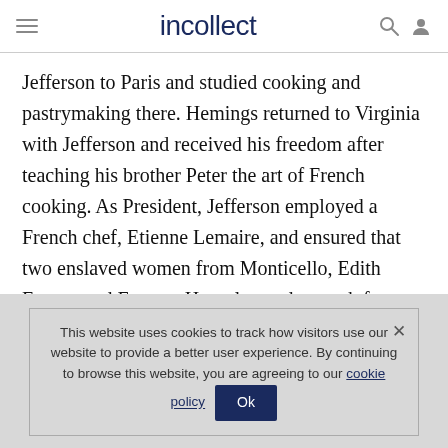incollect
Jefferson to Paris and studied cooking and pastrymaking there. Hemings returned to Virginia with Jefferson and received his freedom after teaching his brother Peter the art of French cooking. As President, Jefferson employed a French chef, Etienne Lemaire, and ensured that two enslaved women from Monticello, Edith Fossett and Frances Hern, learned to cook from him.
This website uses cookies to track how visitors use our website to provide a better user experience. By continuing to browse this website, you are agreeing to our cookie policy  Ok